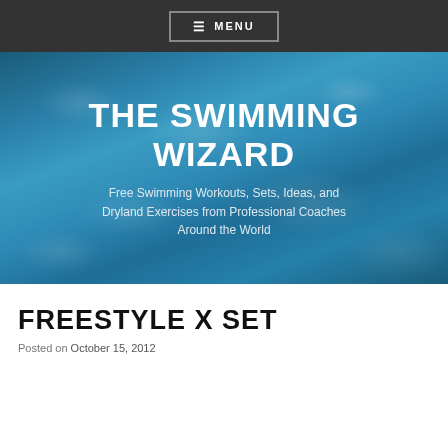≡ MENU
THE SWIMMING WIZARD
Free Swimming Workouts, Sets, Ideas, and Dryland Exercises from Professional Coaches Around the World
FREESTYLE X SET
Posted on October 15, 2012